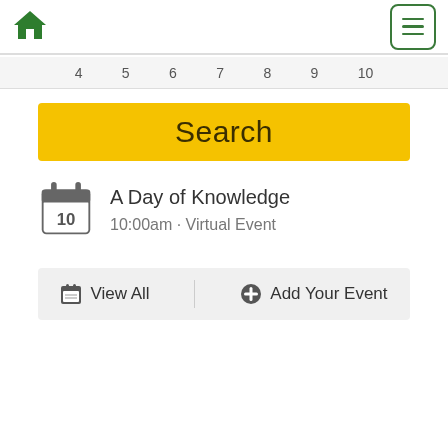Home menu navigation header
4  5  6  7  8  9  10
Search
A Day of Knowledge
10:00am · Virtual Event
View All   Add Your Event